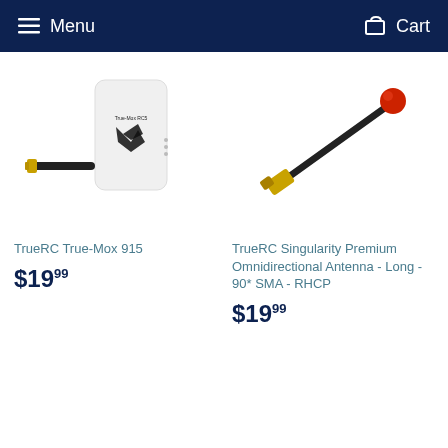Menu   Cart
[Figure (photo): TrueRC True-Mox 915 antenna product photo showing a white rectangular card with the TrueRC logo and a black cable with SMA connector]
TrueRC True-Mox 915
$19.99
[Figure (photo): TrueRC Singularity Premium Omnidirectional Antenna - Long - 90* SMA - RHCP product photo showing a short black cable with gold SMA connector and red omnidirectional tip]
TrueRC Singularity Premium Omnidirectional Antenna - Long - 90* SMA - RHCP
$19.99